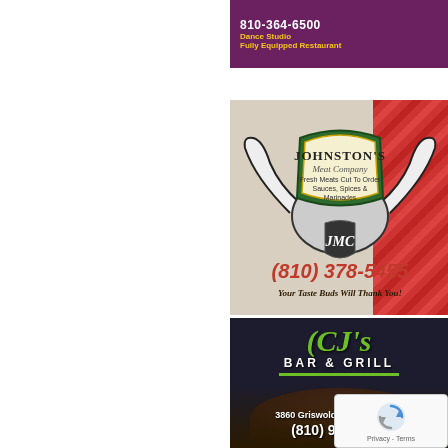[Figure (advertisement): Top banner ad with purple background showing phone number 810-364-6500, Dance Studio, Fully Equipped Restaurant]
[Figure (advertisement): Johnston's Meat Company ad with longhorn logo, JMC shield, text: Fresh Meats Cut To Order, Sauces, Spices & Marinades, phone (810) 378-5455, tagline: Your Taste Buds Will Thank You!]
[Figure (advertisement): CJ's Bar & Grill ad with dark background, green logo, burger photo, address 3860 Griswold Rd, Port Huron, phone (810) 982-7943]